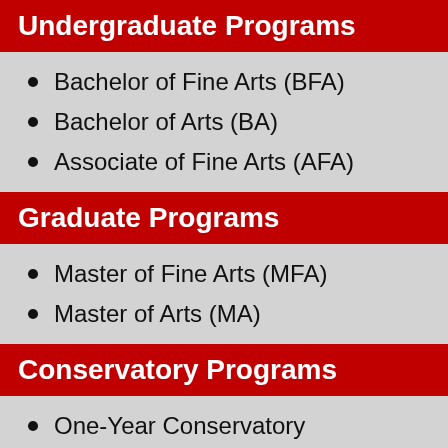Undergraduate Programs
Bachelor of Fine Arts (BFA)
Bachelor of Arts (BA)
Associate of Fine Arts (AFA)
Graduate Programs
Master of Fine Arts (MFA)
Master of Arts (MA)
Conservatory Programs
One-Year Conservatory
Two-Year Conservatory
Continuing Education